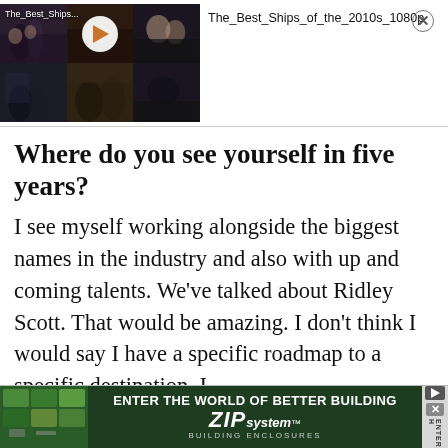[Figure (screenshot): Video thumbnail showing a grid of 6 TV show couple scenes with a play button overlay. Label reads 'The_Best_Ships...']
The_Best_Ships_of_the_2010s_1080p
Where do you see yourself in five years?
I see myself working alongside the biggest names in the industry and also with up and coming talents. We've talked about Ridley Scott. That would be amazing. I don't think I would say I have a specific roadmap to a specific destination. I
[Figure (screenshot): Advertisement banner: ENTER THE WORLD OF BETTER BUILDING. ZIP System BUILDING ENCLOSURES]